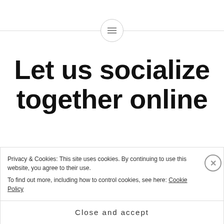Let us socialize together online
To improve each other knowledge on cockfighting and gamecocks of the world. To
Privacy & Cookies: This site uses cookies. By continuing to use this website, you agree to their use.
To find out more, including how to control cookies, see here: Cookie Policy
Close and accept